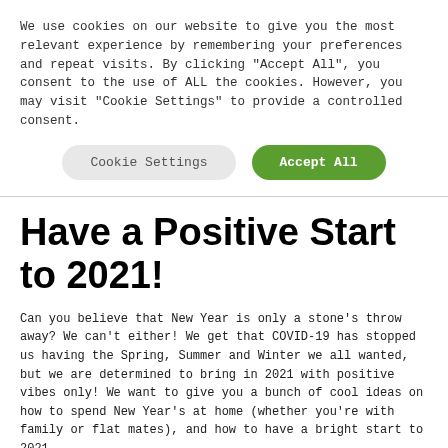We use cookies on our website to give you the most relevant experience by remembering your preferences and repeat visits. By clicking "Accept All", you consent to the use of ALL the cookies. However, you may visit "Cookie Settings" to provide a controlled consent.
Cookie Settings | Accept All
Have a Positive Start to 2021!
Can you believe that New Year is only a stone's throw away? We can't either! We get that COVID-19 has stopped us having the Spring, Summer and Winter we all wanted, but we are determined to bring in 2021 with positive vibes only! We want to give you a bunch of cool ideas on how to spend New Year's at home (whether you're with family or flat mates), and how to have a bright start to 2021.